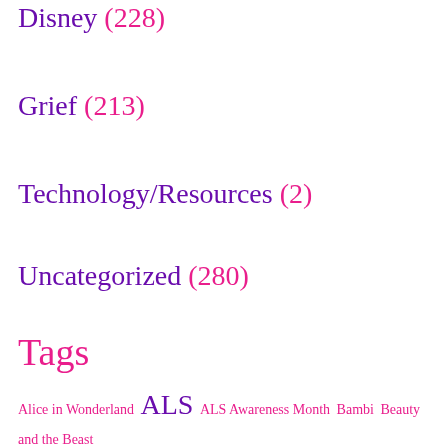Disney (228)
Grief (213)
Technology/Resources (2)
Uncategorized (280)
Tags
Alice in Wonderland ALS ALS Awareness Month Bambi Beauty and the Beast Birthday caregiver caregiving Cats Christmas Cinderella Disney ...